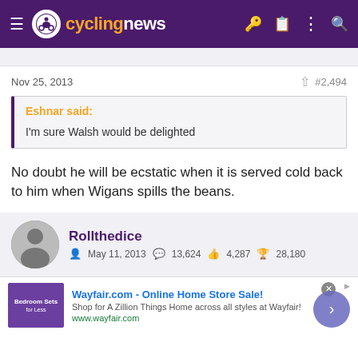[Figure (logo): Cyclingnews website header with purple background, hamburger menu, cyclist logo, and cyclingnews branding]
Nov 25, 2013  #2,494
Eshnar said:
I'm sure Walsh would be delighted
No doubt he will be ecstatic when it is served cold back to him when Wigans spills the beans.
Rollthedice  May 11, 2013  13,624  4,287  28,180
[Figure (screenshot): Wayfair.com advertisement banner]